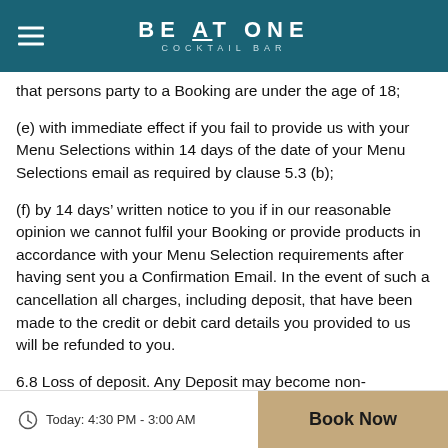BE AT ONE COCKTAIL BAR
that persons party to a Booking are under the age of 18;
(e) with immediate effect if you fail to provide us with your Menu Selections within 14 days of the date of your Menu Selections email as required by clause 5.3 (b);
(f) by 14 days’ written notice to you if in our reasonable opinion we cannot fulfil your Booking or provide products in accordance with your Menu Selection requirements after having sent you a Confirmation Email. In the event of such a cancellation all charges, including deposit, that have been made to the credit or debit card details you provided to us will be refunded to you.
6.8 Loss of deposit. Any Deposit may become non-refundable or any Deposit that remains unpaid may be charged to the credit card or debit
Today: 4:30 PM - 3:00 AM  Book Now